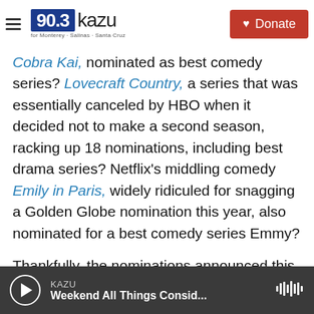[Figure (screenshot): KAZU 90.3 radio station website header with logo, hamburger menu, coastal background image, and red Donate button]
Cobra Kai, nominated as best comedy series? Lovecraft Country, a series that was essentially canceled by HBO when it decided not to make a second season, racking up 18 nominations, including best drama series? Netflix's middling comedy Emily in Paris, widely ridiculed for snagging a Golden Globe nomination this year, also nominated for a best comedy series Emmy?
Thankfully, the nominations announced this year were mostly devoid of head-scratching choices and did an admirable job of reflecting both promising newcomers and old masters during a period when
[Figure (screenshot): Audio player footer bar showing KAZU station and Weekend All Things Considered program with play button and waveform icon]